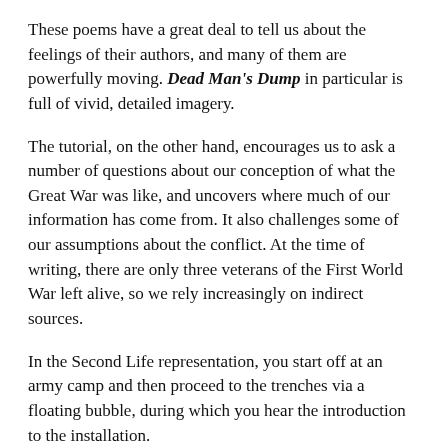These poems have a great deal to tell us about the feelings of their authors, and many of them are powerfully moving. Dead Man's Dump in particular is full of vivid, detailed imagery.
The tutorial, on the other hand, encourages us to ask a number of questions about our conception of what the Great War was like, and uncovers where much of our information has come from. It also challenges some of our assumptions about the conflict. At the time of writing, there are only three veterans of the First World War left alive, so we rely increasingly on indirect sources.
In the Second Life representation, you start off at an army camp and then proceed to the trenches via a floating bubble, during which you hear the introduction to the installation.
Once at ground level in the trenches, you can walk around and visit different aspects of the trench network. Along the way, images of soldiers flicker into view and you might hear an interview or a piece of poetry. The tutorials are accessed via a "HUD" (Head-Up Display) enabling you to proceed